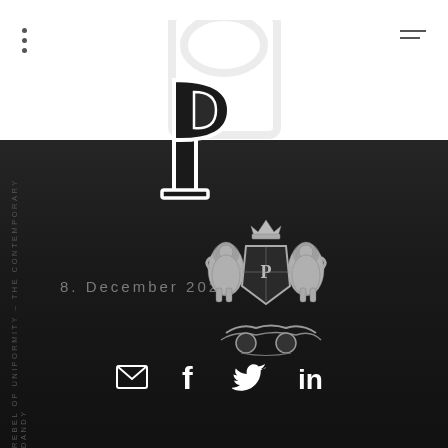[Figure (logo): Large decorative monogram logo 'P' with serif styling, partially transparent/outline, spanning white header and dark background area]
8. December 2020
[Figure (illustration): Coat of arms / royal crest with two lions rampant flanking a shield, crown on top, decorative base]
REBEL OF UNIFORMITY – THE CONTEMPORARY DANDY
[Figure (infographic): Social media icons row: email envelope, Facebook f, Twitter bird, LinkedIn in]